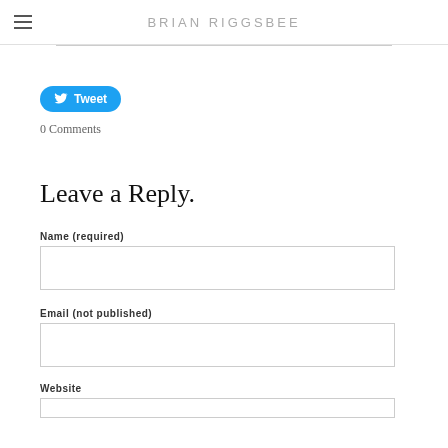BRIAN RIGGSBEE
[Figure (other): Twitter Tweet button with bird icon]
0 Comments
Leave a Reply.
Name (required)
Email (not published)
Website